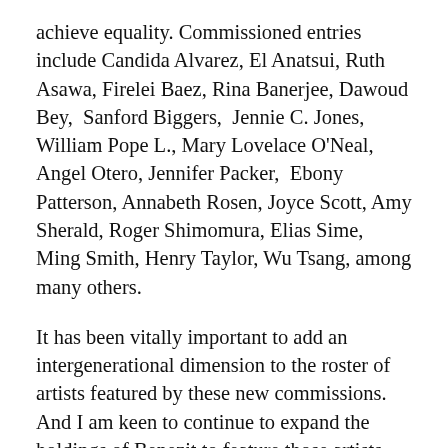achieve equality. Commissioned entries include Candida Alvarez, El Anatsui, Ruth Asawa, Firelei Baez, Rina Banerjee, Dawoud Bey, Sanford Biggers, Jennie C. Jones, William Pope L., Mary Lovelace O'Neal, Angel Otero, Jennifer Packer, Ebony Patterson, Annabeth Rosen, Joyce Scott, Amy Sherald, Roger Shimomura, Elias Sime, Ming Smith, Henry Taylor, Wu Tsang, among many others.
It has been vitally important to add an intergenerational dimension to the roster of artists featured by these new commissions. And I am keen to continue to expand the holdings of Benezit to feature those artists whose careers are experiencing upward trajectories both early on and after many years of production.
While geographic diversity has been a focal point of past editors, I felt what has remained greatly overlooked are those artists living and working in